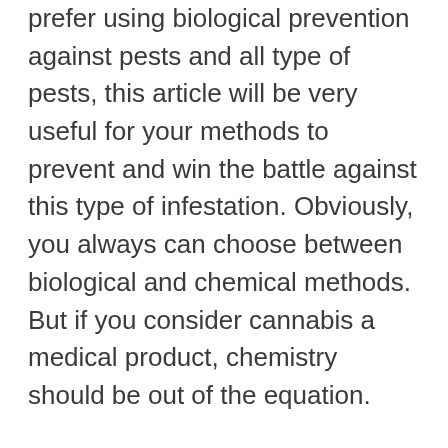prefer using biological prevention against pests and all type of pests, this article will be very useful for your methods to prevent and win the battle against this type of infestation. Obviously, you always can choose between biological and chemical methods. But if you consider cannabis a medical product, chemistry should be out of the equation.
Before going ahead with this article, we should think about the way pest operate. Most pests are predators. Imagine a